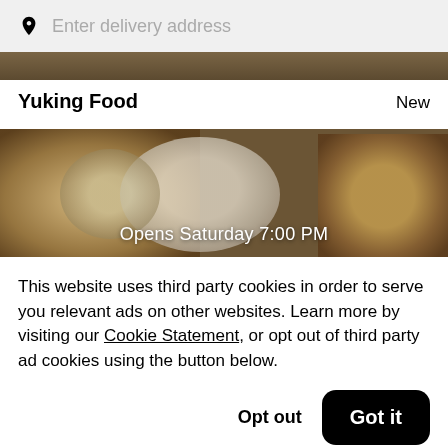Enter delivery address
Yuking Food
New
[Figure (photo): Food delivery restaurant banner showing bowls of food with text 'Opens Saturday 7:00 PM' overlaid]
This website uses third party cookies in order to serve you relevant ads on other websites. Learn more by visiting our Cookie Statement, or opt out of third party ad cookies using the button below.
Opt out
Got it